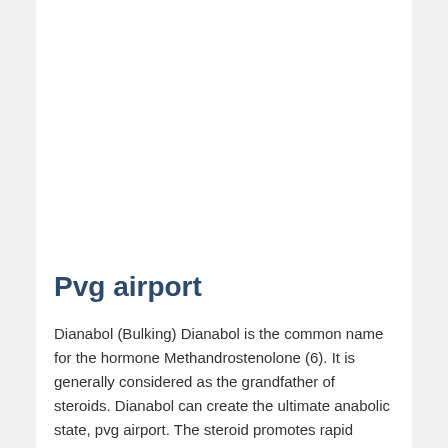Pvg airport
Dianabol (Bulking) Dianabol is the common name for the hormone Methandrostenolone (6). It is generally considered as the grandfather of steroids. Dianabol can create the ultimate anabolic state, pvg airport. The steroid promotes rapid muscle growth and strength gain